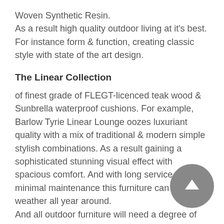Woven Synthetic Resin.
As a result high quality outdoor living at it's best. For instance form & function, creating classic style with state of the art design.
The Linear Collection
of finest grade of FLEGT-licenced teak wood & Sunbrella waterproof cushions. For example, Barlow Tyrie Linear Lounge oozes luxuriant quality with a mix of traditional & modern simple stylish combinations. As a result gaining a sophisticated stunning visual effect with spacious comfort. And with long service & minimal maintenance this furniture can endure weather all year around.
And all outdoor furniture will need a degree of cleaning & maintenance at some point. Because different locations have varying climate conditions. So for instance this may differ from place to place. But be assured Barlow Tyrie only use the best quality product for all of their collections.